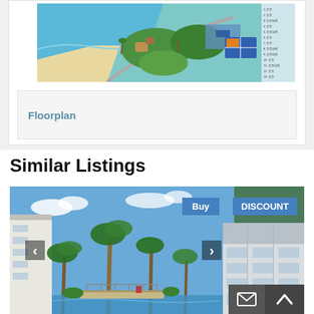[Figure (map): Aerial/illustrated resort map showing beach, pool, tennis courts, greenery and numbered legend on right side]
Floorplan
Similar Listings
[Figure (photo): Photo of a resort property with palm trees, pool, walkway, blue sky and hotel building facades. Buy and DISCOUNT buttons overlay the top right. Left and right navigation arrows. Mail and up-arrow icons in the bottom right.]